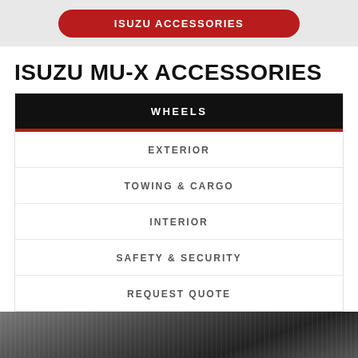ISUZU ACCESSORIES
ISUZU MU-X ACCESSORIES
WHEELS
EXTERIOR
TOWING & CARGO
INTERIOR
SAFETY & SECURITY
REQUEST QUOTE
[Figure (photo): Black and white photo of an Isuzu MU-X wheel/tire detail]